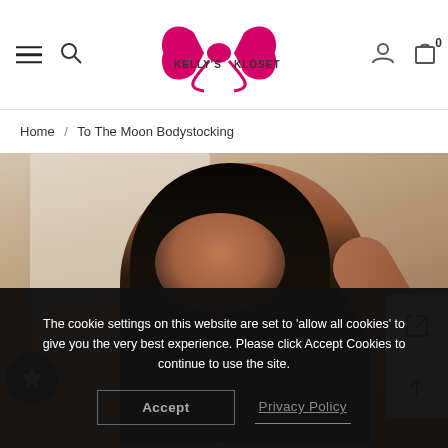Kelly's Kloset — navigation header with menu, search, logo, user account, cart (0)
Home / To The Moon Bodystocking
[Figure (photo): Product photo of a woman with long dark hair wearing a bodystocking, posed against a light interior background]
The cookie settings on this website are set to 'allow all cookies' to give you the very best experience. Please click Accept Cookies to continue to use the site.
Accept   Privacy Policy